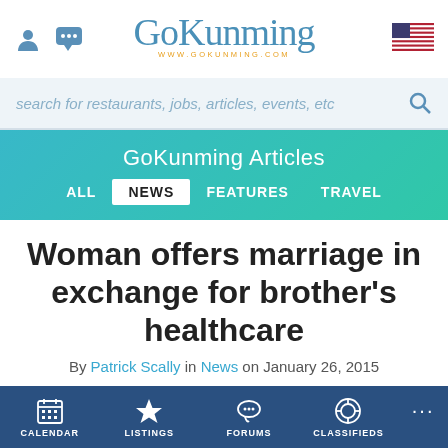GoKunming — www.gokunming.com
search for restaurants, jobs, articles, events, etc
GoKunming Articles
ALL  NEWS  FEATURES  TRAVEL
Woman offers marriage in exchange for brother's healthcare
By Patrick Scally in News on January 26, 2015
CALENDAR  LISTINGS  FORUMS  CLASSIFIEDS